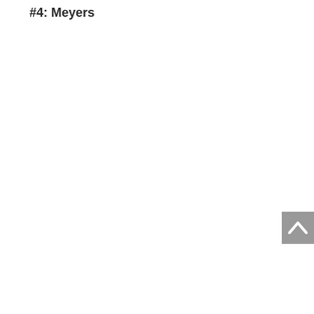#4: Meyers
[Figure (other): Scroll-to-top button (grey square with upward chevron arrow) positioned at the bottom right of the page]